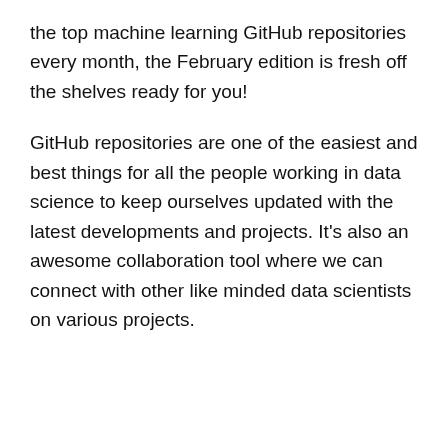the top machine learning GitHub repositories every month, the February edition is fresh off the shelves ready for you!
GitHub repositories are one of the easiest and best things for all the people working in data science to keep ourselves updated with the latest developments and projects. It's also an awesome collaboration tool where we can connect with other like minded data scientists on various projects.